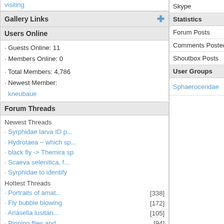visiting
Gallery Links
Users Online
· Guests Online: 11
· Members Online: 0
· Total Members: 4,786
· Newest Member: kneubaue
Forum Threads
Newest Threads
· Syrphidae larva ID p...
· Hydrotaea ~ which sp...
· black fly -> Themira sp
· Scaeva selenitica, f...
· Syrphidae to identify
Hottest Threads
· Portraits of amat... [338]
· Fly bubble blowing [172]
· Ariasella lusitan... [105]
· Pinning flies and... [94]
Theme Switcher
Switch to: SimpleAsThat
Last Seen Users
· Ray Perry 00:21:00
· Jan Maca 00:50:06
· picotverd 07:37:38
· Carnifex 08:05:50
| Field | Value |
| --- | --- |
| Skype |  |
| Statistics |  |
| Forum Posts |  |
| Comments Posted |  |
| Shoutbox Posts |  |
| User Groups |  |
| Sphaeroceridae | Sphaeroceridae |